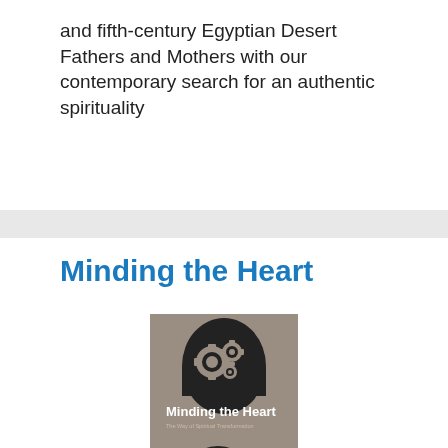and fifth-century Egyptian Desert Fathers and Mothers with our contemporary search for an authentic spirituality
Minding the Heart
[Figure (illustration): Book cover of 'Minding the Heart: The Way of Spiritual Transformation' by Robert L. Saucy. The cover features a gray-brown background with a black silhouette of a head in profile containing gear icons at the top and heart shapes at the bottom. An 'ePUB' badge appears at the lower portion of the cover.]
Author: Robert L. Saucy